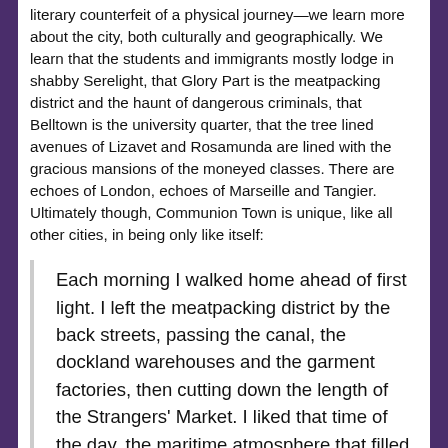literary counterfeit of a physical journey—we learn more about the city, both culturally and geographically. We learn that the students and immigrants mostly lodge in shabby Serelight, that Glory Part is the meatpacking district and the haunt of dangerous criminals, that Belltown is the university quarter, that the tree lined avenues of Lizavet and Rosamunda are lined with the gracious mansions of the moneyed classes. There are echoes of London, echoes of Marseille and Tangier. Ultimately though, Communion Town is unique, like all other cities, in being only like itself:
Each morning I walked home ahead of first light. I left the meatpacking district by the back streets, passing the canal, the dockland warehouses and the garment factories, then cutting down the length of the Strangers' Market. I liked that time of the day, the maritime atmosphere that filled the district for an hour, and the sense of depletion before sleep. The air opened,